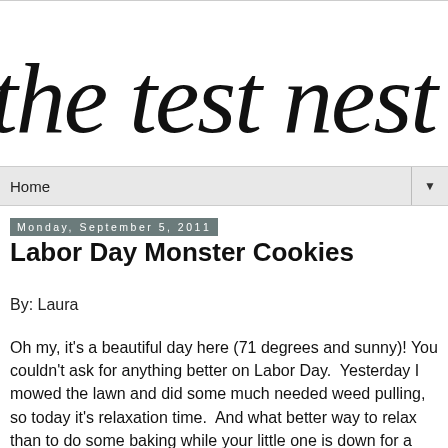[Figure (logo): Blog logo reading 'the test nest' in large handwritten/script style black lettering on white background]
Home ▼
Monday, September 5, 2011
Labor Day Monster Cookies
By: Laura
Oh my, it's a beautiful day here (71 degrees and sunny)! You couldn't ask for anything better on Labor Day.  Yesterday I mowed the lawn and did some much needed weed pulling, so today it's relaxation time.  And what better way to relax than to do some baking while your little one is down for a